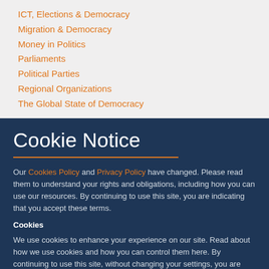ICT, Elections & Democracy
Migration & Democracy
Money in Politics
Parliaments
Political Parties
Regional Organizations
The Global State of Democracy
Cookie Notice
Our Cookies Policy and Privacy Policy have changed. Please read them to understand your rights and obligations, including how you can use our resources. By continuing to use this site, you are indicating that you accept these terms.
Cookies
We use cookies to enhance your experience on our site. Read about how we use cookies and how you can control them here. By continuing to use this site, without changing your settings, you are indicating that you accept this policy.
ACCEPT ALL COOKIES
SET PREFERENCES